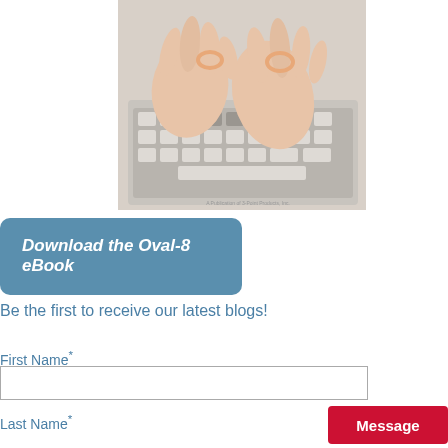[Figure (photo): Close-up photo of two hands wearing Oval-8 finger splints typing on a white keyboard]
Download the Oval-8 eBook
Be the first to receive our latest blogs!
First Name*
Last Name*
Message